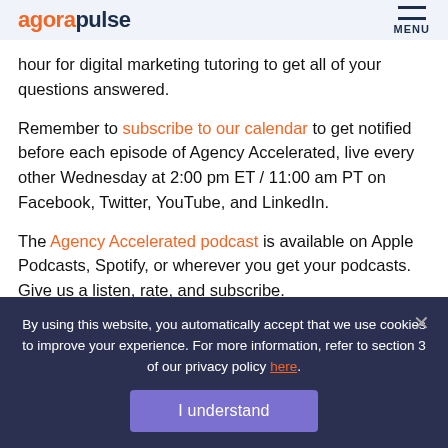agorapulse MENU
hour for digital marketing tutoring to get all of your questions answered.
Remember to subscribe to our calendar to get notified before each episode of Agency Accelerated, live every other Wednesday at 2:00 pm ET / 11:00 am PT on Facebook, Twitter, YouTube, and LinkedIn.
The Agency Accelerated podcast is available on Apple Podcasts, Spotify, or wherever you get your podcasts. Give us a listen, rate, and subscribe.
If you're looking for another way to increase and
By using this website, you automatically accept that we use cookies to improve your experience. For more information, refer to section 3 of our privacy policy here.
I understand